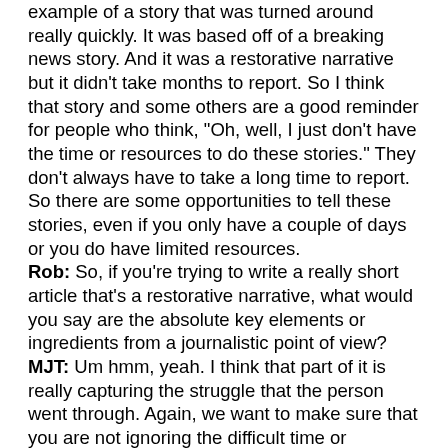example of a story that was turned around really quickly. It was based off of a breaking news story. And it was a restorative narrative but it didn't take months to report. So I think that story and some others are a good reminder for people who think, "Oh, well, I just don't have the time or resources to do these stories." They don't always have to take a long time to report. So there are some opportunities to tell these stories, even if you only have a couple of days or you do have limited resources.
Rob: So, if you're trying to write a really short article that's a restorative narrative, what would you say are the absolute key elements or ingredients from a journalistic point of view?
MJT: Um hmm, yeah. I think that part of it is really capturing the struggle that the person went through. Again, we want to make sure that you are not ignoring the difficult time or situation. So kind of capturing that, but then also making sure that that's not the focus of the story because restorative narratives are not stories that are 90% about the tragedy